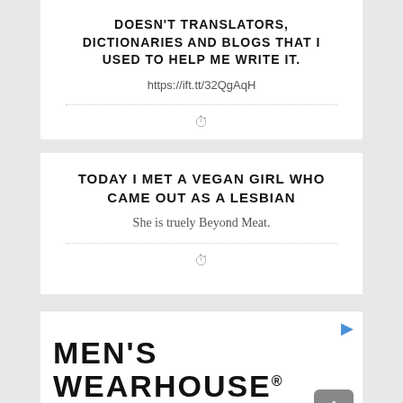DOESN'T TRANSLATORS, DICTIONARIES AND BLOGS THAT I USED TO HELP ME WRITE IT.
https://ift.tt/32QgAqH
TODAY I MET A VEGAN GIRL WHO CAME OUT AS A LESBIAN
She is truely Beyond Meat.
[Figure (advertisement): MEN'S WEARHOUSE® New Lower Prices advertisement with scroll-to-top button]
[Figure (photo): Bottom strip showing a person photo]